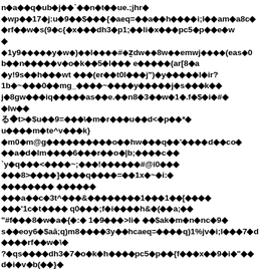Corrupted/encoded text block with diamond replacement characters throughout the page — garbled binary or mojibake content rendered as bold text with black diamond symbols interspersed with ASCII characters.